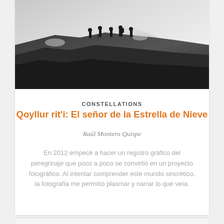[Figure (photo): Black and white photograph of several people hiking/walking along a rocky ridge with snow-covered terrain in the background]
CONSTELLATIONS
Qoyllur rit'i: El señor de la Estrella de Nieve
Raúl Montero Quispe
En 2012 empecé a hacer un registro gráfico del peregrinaje que poco a poco se convirtió en un proyecto fotográfico. Al intentar comprender este mundo sincrético, la fotografía me permitió plasmar y narrar lo que veía.